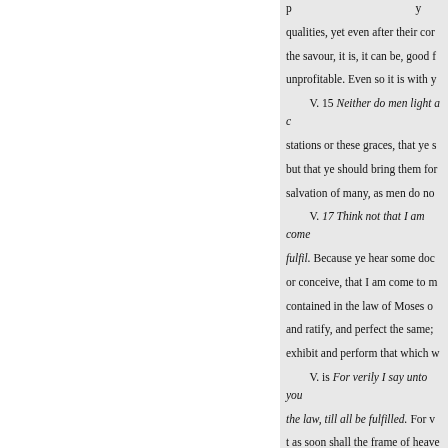qualities, yet even after their cor the savour, it is, it can be, good f unprofitable. Even so it is with y
V. 15 Neither do men light a c stations or these graces, that ye s but that ye should bring them for salvation of many, as men do no
V. 17 Think not that I am come fulfil. Because ye hear some doc or conceive, that I am come to m contained in the law of Moses o and ratify, and perfect the same; exhibit and perform that which w
V. is For verily I say unto you the law, till all be fulfilled. For v t as soon shall the frame of heave fall to the ground unfulfilled, or be abrogated,
V. 19 Whosoever therefore sha shall be called the least in the ki be called great in the kingdom o commandments, which in the o